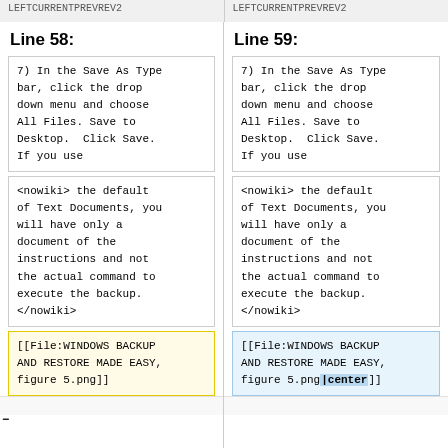LEFTCURRENTPREVREV2  LEFTCURRENTPREVREV2
Line 58:
Line 59:
7) In the Save As Type bar, click the drop down menu and choose All Files. Save to Desktop.  Click Save. If you use
7) In the Save As Type bar, click the drop down menu and choose All Files. Save to Desktop.  Click Save. If you use
<nowiki> the default of Text Documents, you will have only a document of the instructions and not the actual command to execute the backup. </nowiki>
<nowiki> the default of Text Documents, you will have only a document of the instructions and not the actual command to execute the backup. </nowiki>
[[File:WINDOWS BACKUP AND RESTORE MADE EASY, figure 5.png]]
[[File:WINDOWS BACKUP AND RESTORE MADE EASY, figure 5.png|center]]